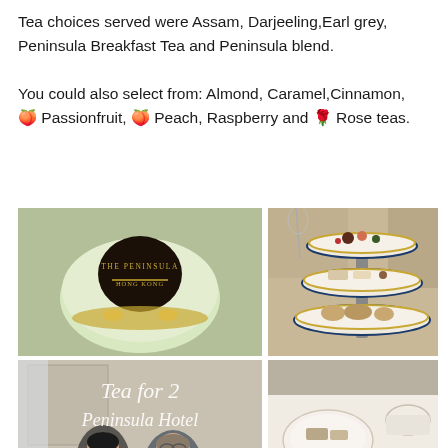Tea choices served were Assam, Darjeeling,Earl grey, Peninsula Breakfast Tea and Peninsula blend.

You could also select from: Almond, Caramel,Cinnamon, 🍑 Passionfruit, 🍑 Peach, Raspberry and 🌹 Rose teas.
[Figure (photo): Close-up of a round green/white dessert (mousse cake) with a dark chocolate disc on top reading 'THE PENINSULA HONG KONG']
[Figure (photo): A three-tiered afternoon tea stand with assorted pastries, sandwiches, and small desserts on white plates with gold/blue trim]
[Figure (photo): Two people seated in an elegant hotel room with overlay text reading 'Tea for 2 Peninsula Hotel' in italic white script]
[Figure (photo): Bottom right partial photo showing more afternoon tea items on a table]